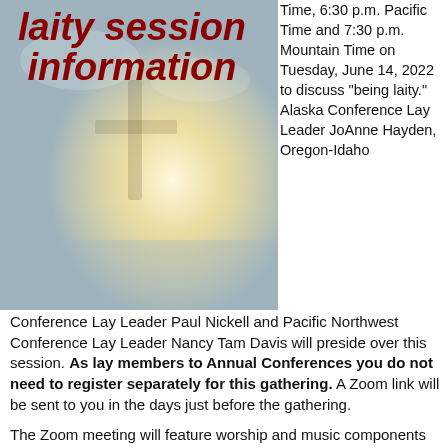[Figure (photo): Blurred background photo of a church or outdoor scene with warm light, with bold dark red italic text overlay reading 'laity session information']
Time, 6:30 p.m. Pacific Time and 7:30 p.m. Mountain Time on Tuesday, June 14, 2022 to discuss "being laity." Alaska Conference Lay Leader JoAnne Hayden, Oregon-Idaho Conference Lay Leader Paul Nickell and Pacific Northwest Conference Lay Leader Nancy Tam Davis will preside over this session. As lay members to Annual Conferences you do not need to register separately for this gathering. A Zoom link will be sent to you in the days just before the gathering.
The Zoom meeting will feature worship and music components provided by various churches of diverse backgrounds from across the Greater Northwest Area. Guest speaker will be Sharon Gregory, lay leader from the Western Pennsylvania Conference of The UMC and past president of the Association of Annual Conference Lay Leaders.